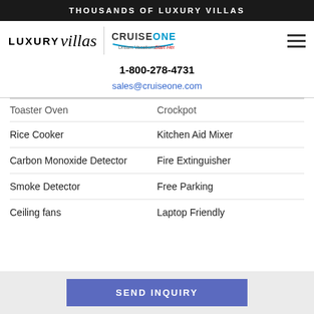THOUSANDS OF LUXURY VILLAS
[Figure (logo): Luxury Villas and CruiseOne Dream Vacations Start Here logos with hamburger menu icon]
1-800-278-4731
sales@cruiseone.com
Toaster Oven	Crockpot
Rice Cooker	Kitchen Aid Mixer
Carbon Monoxide Detector	Fire Extinguisher
Smoke Detector	Free Parking
Ceiling fans	Laptop Friendly
SEND INQUIRY